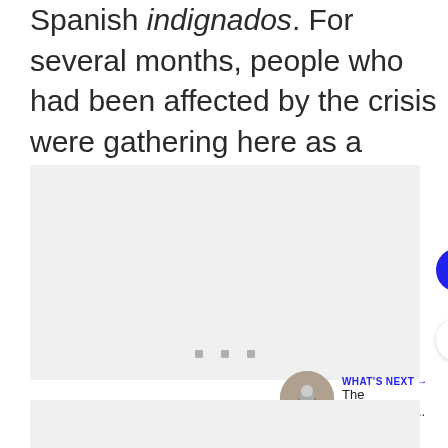Spanish indignados. For several months, people who had been affected by the crisis were gathering here as a means of protest against the Greek politics.
[Figure (photo): A large light gray image placeholder with three small gray square dots at the bottom center, likely a photo carousel or image gallery element.]
[Figure (photo): A partial image placeholder at the very bottom of the page, light gray background.]